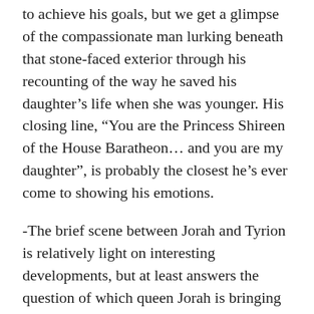to achieve his goals, but we get a glimpse of the compassionate man lurking beneath that stone-faced exterior through his recounting of the way he saved his daughter’s life when she was younger. His closing line, “You are the Princess Shireen of the House Baratheon… and you are my daughter”, is probably the closest he’s ever come to showing his emotions.
-The brief scene between Jorah and Tyrion is relatively light on interesting developments, but at least answers the question of which queen Jorah is bringing his captive to. That sucker punch was pretty terrific though.
-Without getting into potential spoilers, the episode’s references to Rhaegar and Lyanna suggest that the show might be setting up some confirmed further…